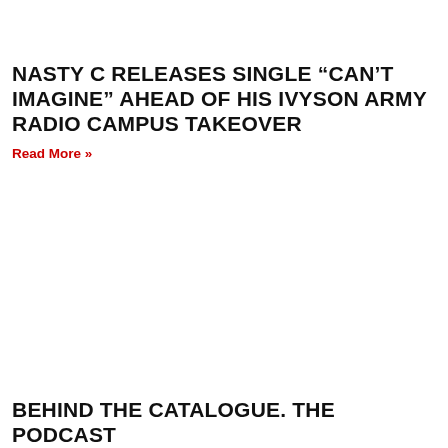NASTY C RELEASES SINGLE “CAN’T IMAGINE” AHEAD OF HIS IVYSON ARMY RADIO CAMPUS TAKEOVER
Read More »
BEHIND THE CATALOGUE. THE PODCAST